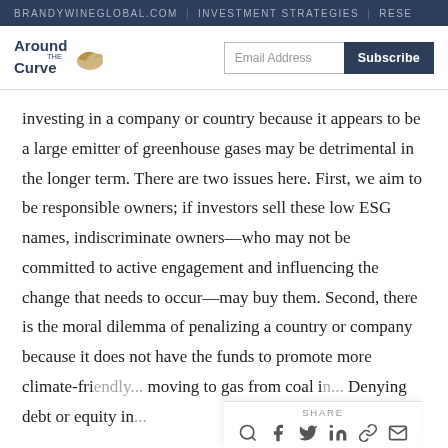BRANDYWINEGLOBAL.COM | INVESTMENT STRATEGIES | RESE
[Figure (logo): Around the Curve logo with bird icon, email address field and Subscribe button]
investing in a company or country because it appears to be a large emitter of greenhouse gases may be detrimental in the longer term. There are two issues here. First, we aim to be responsible owners; if investors sell these low ESG names, indiscriminate owners—who may not be committed to active engagement and influencing the change that needs to occur—may buy them. Second, there is the moral dilemma of penalizing a country or company because it does not have the funds to promote more climate-frie... moving to gas from coal i... Denying debt or equity in...